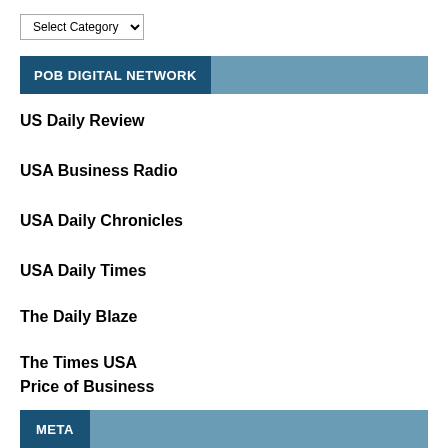Select Category
POB DIGITAL NETWORK
US Daily Review
USA Business Radio
USA Daily Chronicles
USA Daily Times
The Daily Blaze
The Times USA
Price of Business
META